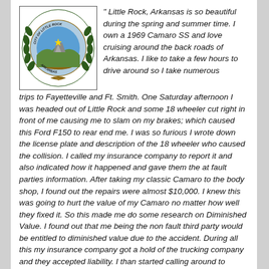[Figure (logo): City of Little Rock, Arkansas official seal with green wreath border, blue circular center depicting a rock formation and star, text reading CITY OF LITTLE ROCK and ARKANSAS around the border]
" Little Rock, Arkansas is so beautiful during the spring and summer time.  I own a 1969 Camaro SS and love cruising around the back roads of Arkansas.  I like to take a few hours to drive around so I take numerous trips to Fayetteville and Ft. Smith.  One Saturday afternoon I was headed out of Little Rock and some 18 wheeler cut right in front of me causing me to slam on my brakes; which caused this Ford F150 to rear end me.  I was so furious I wrote down the license plate and description of the 18 wheeler who caused the collision.  I called my insurance company to report it and also indicated how it happened and gave them the at fault parties information.  After taking my classic Camaro to the body shop, I found out the repairs were almost $10,000.  I knew this was going to hurt the value of my Camaro no matter how well they fixed it.  So this made me do some research on Diminished Value.  I found out that me being the non fault third party would be entitled to diminished value due to the accident.  During all this my insurance company got a hold of the trucking company and they accepted liability.  I than started calling around to appraisal companies asking them about the process and what their